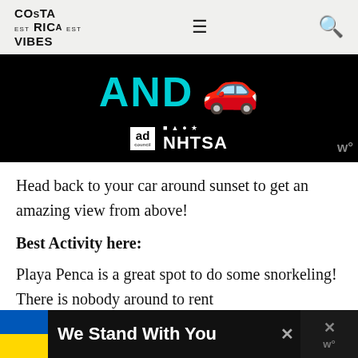COSTA RICA VIBES
[Figure (screenshot): Advertisement banner with cyan 'AND' text, red car emoji, Ad Council logo, and NHTSA logo on black background]
Head back to your car around sunset to get an amazing view from above!
Best Activity here:
Playa Penca is a great spot to do some snorkeling! There is nobody around to rent
[Figure (screenshot): Bottom overlay banner: Ukrainian flag, 'We Stand With You' text, close X buttons on dark background]